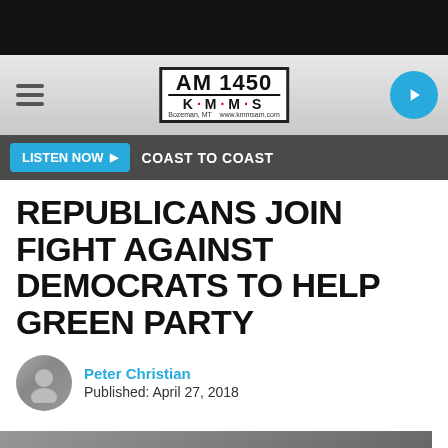[Figure (screenshot): AM 1450 KMMS radio station website header with logo, hamburger menu, and play button]
LISTEN NOW  COAST TO COAST
REPUBLICANS JOIN FIGHT AGAINST DEMOCRATS TO HELP GREEN PARTY
Peter Christian
Published: April 27, 2018
[Figure (screenshot): YouTube video thumbnail: Republican Party Joins Fight Against D... with KGVO badge]